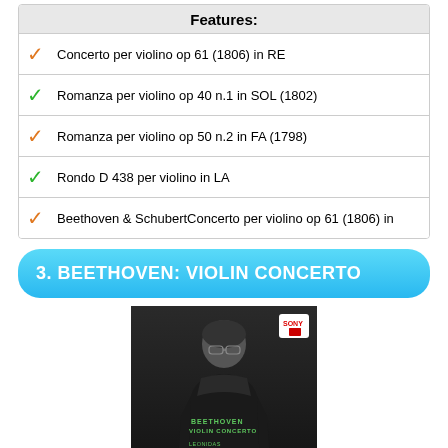Features:
Concerto per violino op 61 (1806) in RE
Romanza per violino op 40 n.1 in SOL (1802)
Romanza per violino op 50 n.2 in FA (1798)
Rondo D 438 per violino in LA
Beethoven & SchubertConcerto per violino op 61 (1806) in
3. BEETHOVEN: VIOLIN CONCERTO
[Figure (photo): Album cover of Beethoven Violin Concerto performed by Leonidas Kavakos with Symphonieorchester des Bayerischen Rundfunks. Black and white photo of a man in dark clothing wearing glasses, with green text overlay reading BEETHOVEN VIOLIN CONCERTO, LEONIDAS KAVAKOS, SYMPHONIEORCHESTER DES BAYERISCHEN RUNDFUNKS. Sony label logo in top right.]